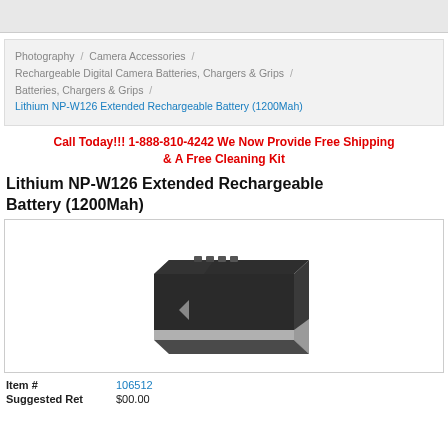Photography / Camera Accessories / Rechargeable Digital Camera Batteries, Chargers & Grips / Batteries, Chargers & Grips / Lithium NP-W126 Extended Rechargeable Battery (1200Mah)
Call Today!!! 1-888-810-4242 We Now Provide Free Shipping & A Free Cleaning Kit
Lithium NP-W126 Extended Rechargeable Battery (1200Mah)
[Figure (photo): Photo of a black rectangular lithium battery (NP-W126) with a silver stripe along the bottom edge, viewed from a slight angle showing the top and front face with contact pins visible.]
Item #   106512
Suggested Ret   $00.00